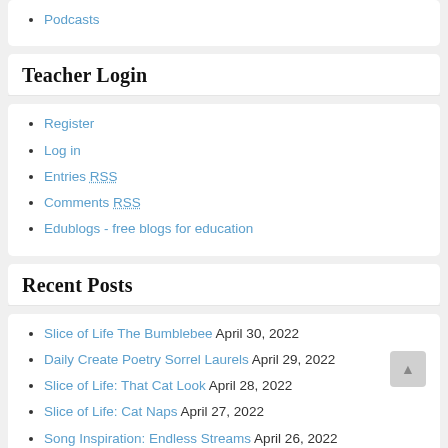Podcasts
Teacher Login
Register
Log in
Entries RSS
Comments RSS
Edublogs - free blogs for education
Recent Posts
Slice of Life The Bumblebee April 30, 2022
Daily Create Poetry Sorrel Laurels April 29, 2022
Slice of Life: That Cat Look April 28, 2022
Slice of Life: Cat Naps April 27, 2022
Song Inspiration: Endless Streams April 26, 2022
AUGUST 2022